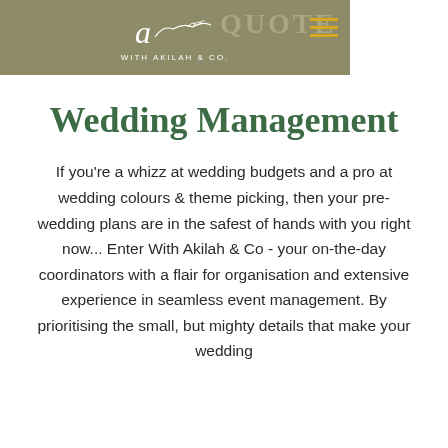[Figure (logo): With Akilah & Co logo: stylized italic 'a' with botanical branch illustration and text 'WITH AKILAH & CO.' on olive/khaki background banner, with hamburger menu icon in gold on the right side. Faded text 'QUOTE' visible in background.]
Wedding Management
If you're a whizz at wedding budgets and a pro at wedding colours & theme picking, then your pre-wedding plans are in the safest of hands with you right now... Enter With Akilah & Co - your on-the-day coordinators with a flair for organisation and extensive experience in seamless event management. By prioritising the small, but mighty details that make your wedding